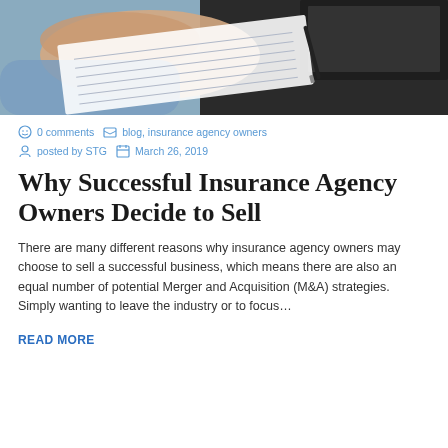[Figure (photo): A person holding a document/paperwork over a laptop, wearing a blue shirt, viewed from above at a desk.]
0 comments   blog, insurance agency owners   posted by STG   March 26, 2019
Why Successful Insurance Agency Owners Decide to Sell
There are many different reasons why insurance agency owners may choose to sell a successful business, which means there are also an equal number of potential Merger and Acquisition (M&A) strategies. Simply wanting to leave the industry or to focus…
READ MORE